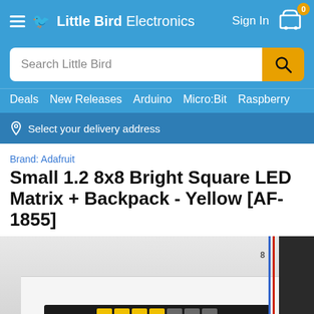Little Bird Electronics — Sign In — Cart (0)
Search Little Bird
Deals | New Releases | Arduino | Micro:Bit | Raspberry
Select your delivery address
Brand: Adafruit
Small 1.2 8x8 Bright Square LED Matrix + Backpack - Yellow [AF-1855]
[Figure (photo): Photo of Small 1.2 8x8 Bright Square LED Matrix + Backpack in Yellow color, showing the PCB with LED matrix partially illuminated in yellow, on a white/grey background with breadboard and other components visible]